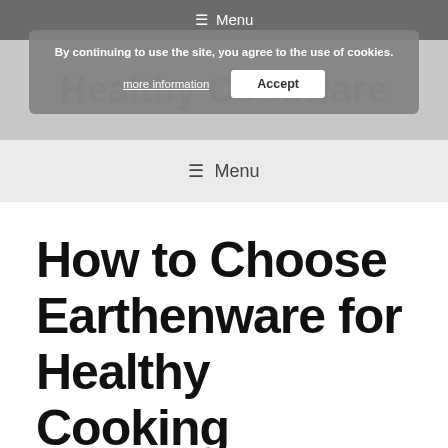≡ Menu
Healthy Cookware
By continuing to use the site, you agree to the use of cookies. more information  Accept
≡ Menu
How to Choose Earthenware for Healthy Cooking
October 12, 2014 by Gaga